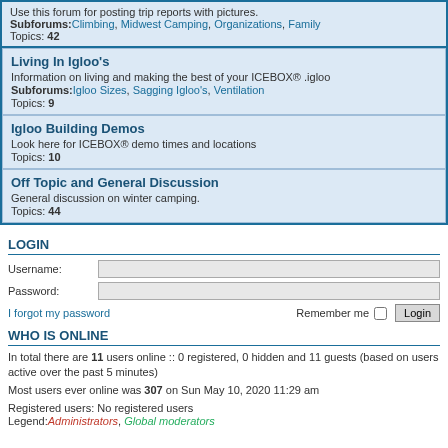Living In Igloo's
Information on living and making the best of your ICEBOX® .igloo
Subforums: Igloo Sizes, Sagging Igloo's, Ventilation
Topics: 9
Igloo Building Demos
Look here for ICEBOX® demo times and locations
Topics: 10
Off Topic and General Discussion
General discussion on winter camping.
Topics: 44
LOGIN
Username:
Password:
I forgot my password
Remember me  Login
WHO IS ONLINE
In total there are 11 users online :: 0 registered, 0 hidden and 11 guests (based on users active over the past 5 minutes)
Most users ever online was 307 on Sun May 10, 2020 11:29 am
Registered users: No registered users
Legend: Administrators, Global moderators